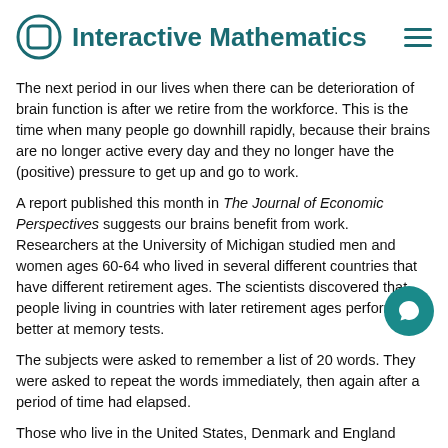Interactive Mathematics
The next period in our lives when there can be deterioration of brain function is after we retire from the workforce. This is the time when many people go downhill rapidly, because their brains are no longer active every day and they no longer have the (positive) pressure to get up and go to work.
A report published this month in The Journal of Economic Perspectives suggests our brains benefit from work. Researchers at the University of Michigan studied men and women ages 60-64 who lived in several different countries that have different retirement ages. The scientists discovered that people living in countries with later retirement ages performed better at memory tests.
The subjects were asked to remember a list of 20 words. They were asked to repeat the words immediately, then again after a period of time had elapsed.
Those who live in the United States, Denmark and England recalled an average of 10-11 out of the 20 words. In these countries, people tended to workd longer. For example, in the US 50% of people were still working at age 60.